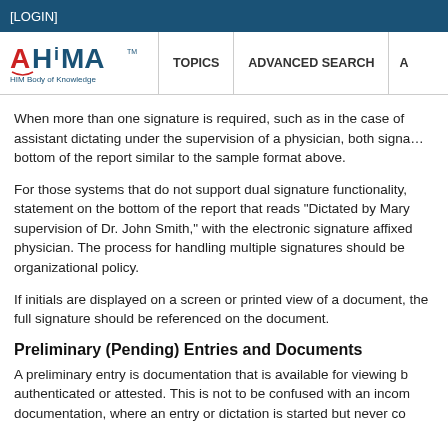[LOGIN]
[Figure (logo): AHIMA logo with text 'HIM Body of Knowledge TM' and navigation items TOPICS, ADVANCED SEARCH]
When more than one signature is required, such as in the case of assistant dictating under the supervision of a physician, both signatures should appear at the bottom of the report similar to the sample format above.
For those systems that do not support dual signature functionality, a statement on the bottom of the report that reads “Dictated by Mary under the supervision of Dr. John Smith,” with the electronic signature affixed by the physician. The process for handling multiple signatures should be part of organizational policy.
If initials are displayed on a screen or printed view of a document, the full signature should be referenced on the document.
Preliminary (Pending) Entries and Documents
A preliminary entry is documentation that is available for viewing but not yet authenticated or attested. This is not to be confused with an incomplete documentation, where an entry or dictation is started but never co…